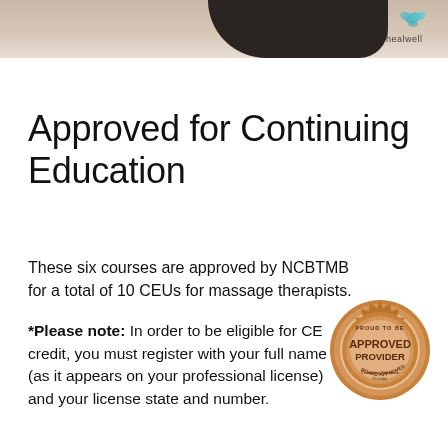[Figure (photo): Top strip showing dark stones/objects on a warm beige background with Healwell logo in the top right corner]
Approved for Continuing Education
These six courses are approved by NCBTMB for a total of 10 CEUs for massage therapists.
[Figure (logo): NCBTMB Approved Provider Board Approved seal/badge in orange and brown tones]
*Please note: In order to be eligible for CE credit, you must register with your full name (as it appears on your professional license) and your license state and number.